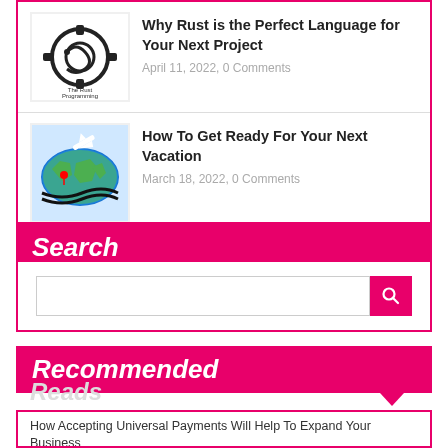[Figure (screenshot): Blog article list showing two items: Rust programming language article with logo thumbnail and travel vacation article with world map thumbnail]
Why Rust is the Perfect Language for Your Next Project - April 11, 2022, 0 Comments
How To Get Ready For Your Next Vacation - March 18, 2022, 0 Comments
Search
[Figure (screenshot): Search widget with text input field and pink search button]
Recommended
Reads
How Accepting Universal Payments Will Help To Expand Your Business
Working Abroad? The Top Tips You Need To Know
10 Signs You Should Already Be A Doctor Or A